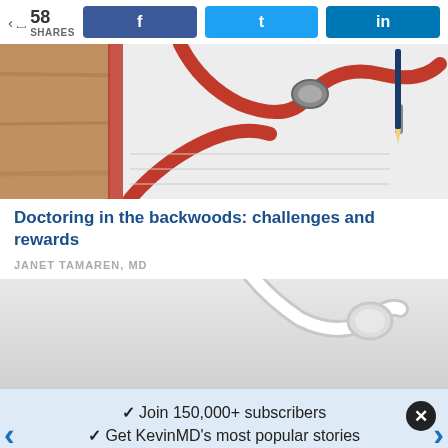58 SHARES | Facebook share | Twitter share | LinkedIn share
[Figure (photo): Red stethoscope on wooden desk with notepad and pen — medical/healthcare imagery]
Doctoring in the backwoods: challenges and rewards
JANET TAMAREN, MD
[Figure (photo): White stethoscope on light grey background — partial view]
✓ Join 150,000+ subscribers
✓ Get KevinMD's most popular stories
Email | Subscribe. It's free.